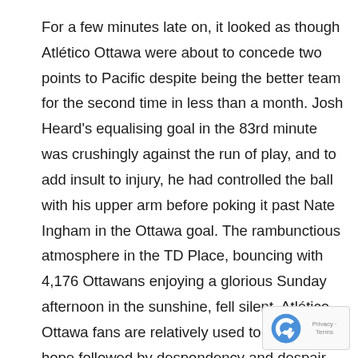For a few minutes late on, it looked as though Atlético Ottawa were about to concede two points to Pacific despite being the better team for the second time in less than a month. Josh Heard's equalising goal in the 83rd minute was crushingly against the run of play, and to add insult to injury, he had controlled the ball with his upper arm before poking it past Nate Ingham in the Ottawa goal. The rambunctious atmosphere in the TD Place, bouncing with 4,176 Ottawans enjoying a glorious Sunday afternoon in the sunshine, fell silent. Atlético Ottawa fans are relatively used to this feeling, hope followed by despondency and despair.